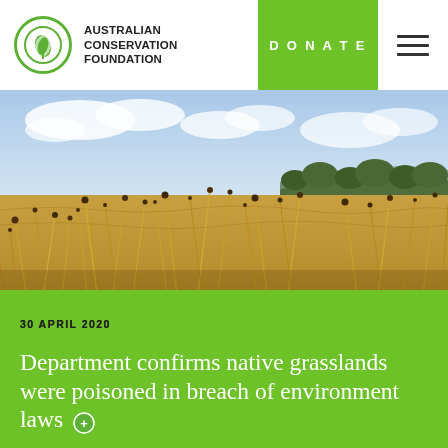AUSTRALIAN CONSERVATION FOUNDATION | DONATE
[Figure (photo): Native grassland landscape with tall golden grasses in the foreground with seed heads on thin stalks, and hills with trees in the background under a partly cloudy sky.]
30 APRIL 2020
Department confirms native grasslands were poisoned in breach of environment laws